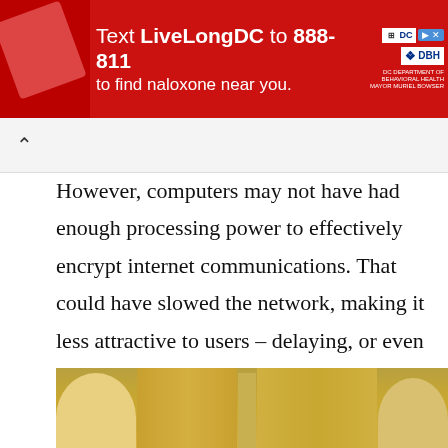[Figure (other): Red advertisement banner: Text LiveLongDC to 888-811 to find naloxone near you. DC Health and mayor logos on right side. Medical item image on left.]
[Figure (other): Browser navigation bar with a caret/up arrow (^) button on gray background]
However, computers may not have had enough processing power to effectively encrypt internet communications. That could have slowed the network, making it less attractive to users – delaying, or even preventing, wider use by researchers and the public.
[Figure (photo): Partial photograph showing two people in what appears to be a formal setting with gold/yellow curtain background, cropped at the bottom of the page.]